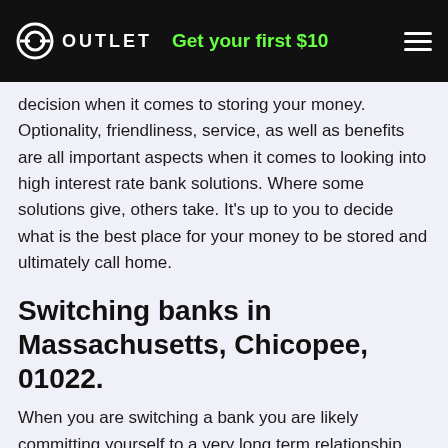OUTLET | Get your first $10
decision when it comes to storing your money. Optionality, friendliness, service, as well as benefits are all important aspects when it comes to looking into high interest rate bank solutions. Where some solutions give, others take. It's up to you to decide what is the best place for your money to be stored and ultimately call home.
Switching banks in Massachusetts, Chicopee, 01022.
When you are switching a bank you are likely committing yourself to a very long term relationship with that institution. This page is a great way to get to know banks in your local area that will help you make a better